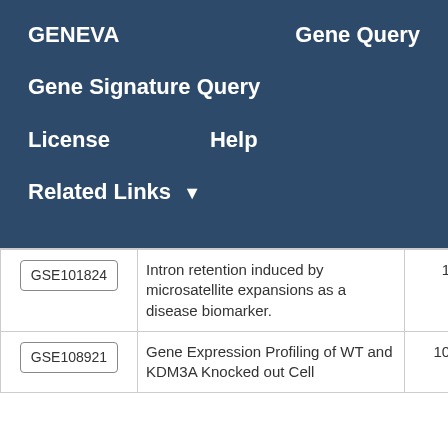GENEVA   Gene Query
Gene Signature Query
License   Help
Related Links ▼
|  | Description | Score |
| --- | --- | --- |
| GSE101824 | Intron retention induced by microsatellite expansions as a disease biomarker. | 10.2 |
| GSE108921 | Gene Expression Profiling of WT and KDM3A Knocked out Cell | 10.13 |